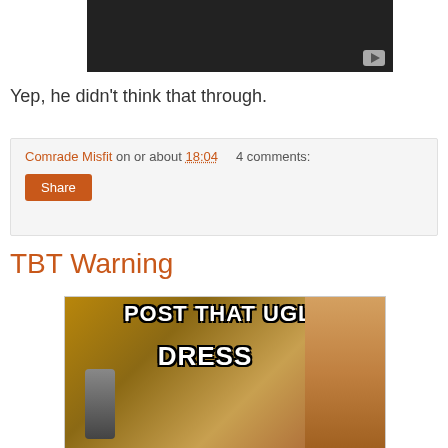[Figure (screenshot): Embedded video player with dark background and play button in bottom right corner]
Yep, he didn't think that through.
Comrade Misfit on or about 18:04   4 comments:
TBT Warning
[Figure (photo): Meme image with text 'POST THAT UGLY DRESS' overlaid on a photo of a person with glasses]